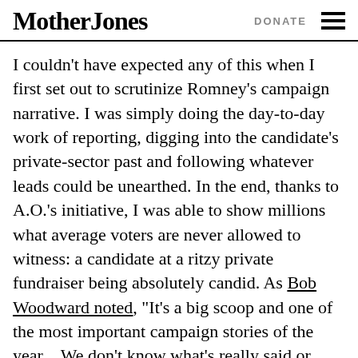Mother Jones | DONATE
I couldn’t have expected any of this when I first set out to scrutinize Romney’s campaign narrative. I was simply doing the day-to-day work of reporting, digging into the candidate’s private-sector past and following whatever leads could be unearthed. In the end, thanks to A.O.’s initiative, I was able to show millions what average voters are never allowed to witness: a candidate at a ritzy private fundraiser being absolutely candid. As Bob Woodward noted, “It’s a big scoop and one of the most important campaign stories of the year…We don’t know what’s really said or done behind closed doors. Here somebody went behind closed doors.” And the real Romney was revealed.